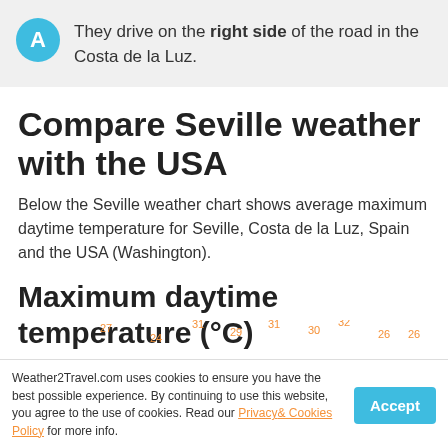They drive on the right side of the road in the Costa de la Luz.
Compare Seville weather with the USA
Below the Seville weather chart shows average maximum daytime temperature for Seville, Costa de la Luz, Spain and the USA (Washington).
Maximum daytime temperature (°C)
Seville, Costa de la Luz, Spain
Weather2Travel.com uses cookies to ensure you have the best possible experience. By continuing to use this website, you agree to the use of cookies. Read our Privacy & Cookies Policy for more info.